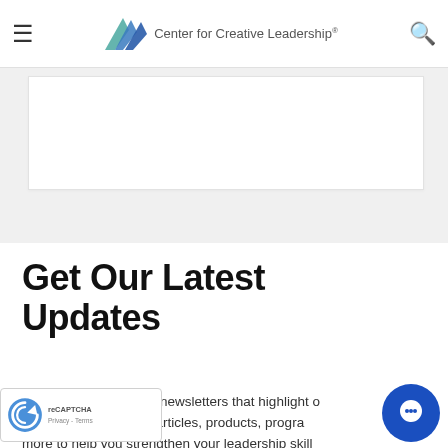Center for Creative Leadership
[Figure (other): White content card/banner placeholder on gray background]
Get Our Latest Updates
Subscribe to our email newsletters that highlight our latest research-based articles, products, programs, and more to help you strengthen your leadership skills.